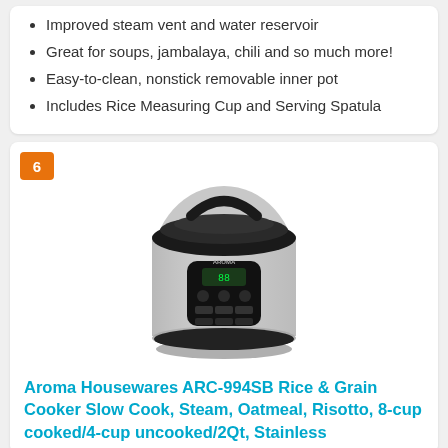Improved steam vent and water reservoir
Great for soups, jambalaya, chili and so much more!
Easy-to-clean, nonstick removable inner pot
Includes Rice Measuring Cup and Serving Spatula
[Figure (photo): Aroma Housewares ARC-994SB rice cooker with stainless steel body and black digital control panel]
Aroma Housewares ARC-994SB Rice & Grain Cooker Slow Cook, Steam, Oatmeal, Risotto, 8-cup cooked/4-cup uncooked/2Qt, Stainless